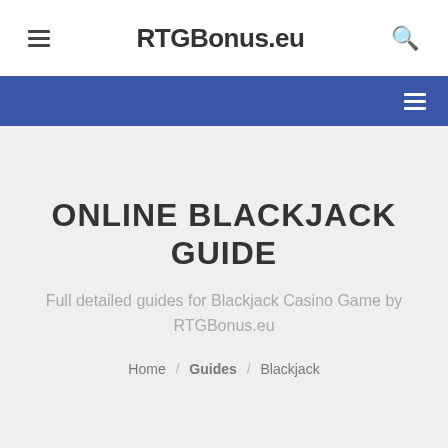RTGBonus.eu
ONLINE BLACKJACK GUIDE
Full detailed guides for Blackjack Casino Game by RTGBonus.eu
Home / Guides / Blackjack